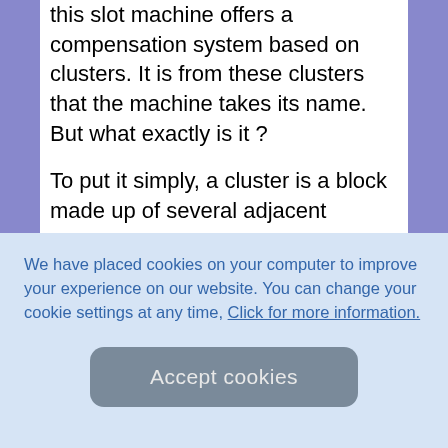this slot machine offers a compensation system based on clusters. It is from these clusters that the machine takes its name. But what exactly is it ?
To put it simply, a cluster is a block made up of several adjacent
We have placed cookies on your computer to improve your experience on our website. You can change your cookie settings at any time, Click for more information.